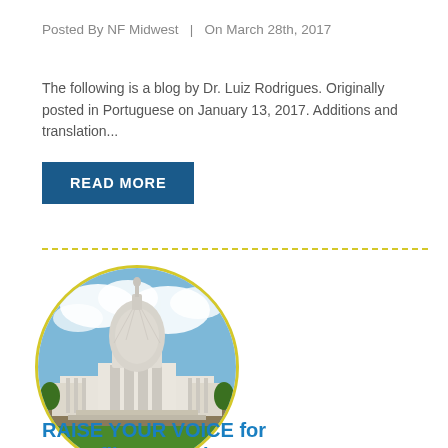Posted By NF Midwest  |  On March 28th, 2017
The following is a blog by Dr. Luiz Rodrigues. Originally posted in Portuguese on January 13, 2017. Additions and translation...
READ MORE
[Figure (photo): Circular photo of the United States Capitol building with blue sky and clouds in the background, green lawn in the foreground, framed with a yellow/lime circular border.]
RAISE YOUR VOICE for Neurofibromatosis